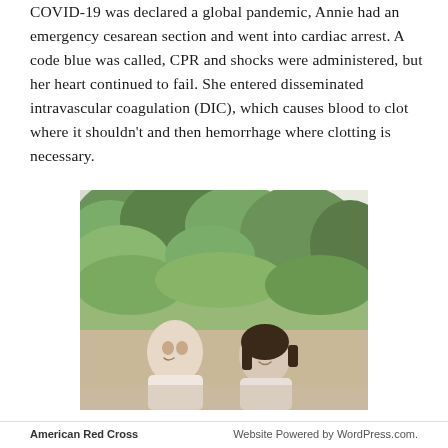COVID-19 was declared a global pandemic, Annie had an emergency cesarean section and went into cardiac arrest. A code blue was called, CPR and shocks were administered, but her heart continued to fail. She entered disseminated intravascular coagulation (DIC), which causes blood to clot where it shouldn't and then hemorrhage where clotting is necessary.
[Figure (photo): A man and a woman smiling outdoors in front of trees and green foliage. Both are dressed casually; the man wears a light-colored shirt on the left and the woman with dark hair is on the right.]
American Red Cross    Website Powered by WordPress.com.